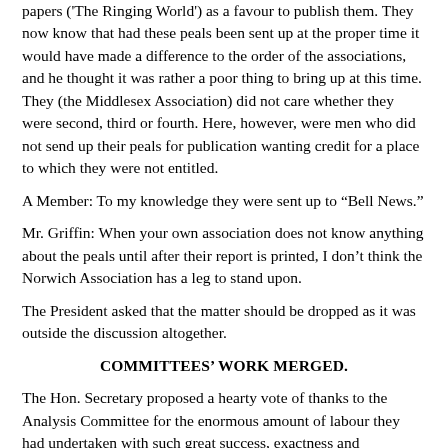papers ('The Ringing World') as a favour to publish them. They now know that had these peals been sent up at the proper time it would have made a difference to the order of the associations, and he thought it was rather a poor thing to bring up at this time. They (the Middlesex Association) did not care whether they were second, third or fourth. Here, however, were men who did not send up their peals for publication wanting credit for a place to which they were not entitled.
A Member: To my knowledge they were sent up to “Bell News.”
Mr. Griffin: When your own association does not know anything about the peals until after their report is printed, I don’t think the Norwich Association has a leg to stand upon.
The President asked that the matter should be dropped as it was outside the discussion altogether.
COMMITTEES’ WORK MERGED.
The Hon. Secretary proposed a hearty vote of thanks to the Analysis Committee for the enormous amount of labour they had undertaken with such great success, exactness and thoroughness. The Council owed a great debt of gratitude to them for their hard labour. The Hon. Secretary then returned to the subject of the Peal Values Committee’s desire that their work should be taken over by